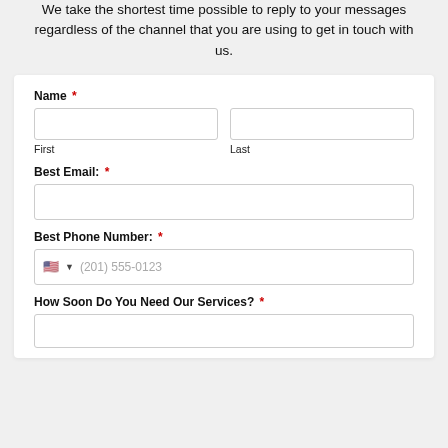We take the shortest time possible to reply to your messages regardless of the channel that you are using to get in touch with us.
[Figure (screenshot): Contact form with fields: Name (First, Last), Best Email, Best Phone Number (with US flag country selector and placeholder (201) 555-0123), and How Soon Do You Need Our Services?]